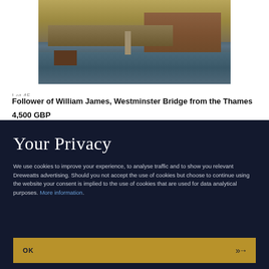[Figure (photo): Painting of Westminster Bridge from the Thames, showing a stone bridge, sailing boats, and buildings along the riverbank in a classical oil painting style.]
Lot 45
Follower of William James, Westminster Bridge from the Thames
4,500 GBP
Your Privacy
We use cookies to improve your experience, to analyse traffic and to show you relevant Dreweatts advertising. Should you not accept the use of cookies but choose to continue using the website your consent is implied to the use of cookies that are used for data analytical purposes. More information.
OK